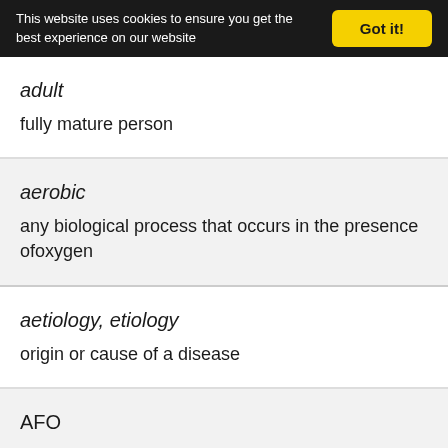This website uses cookies to ensure you get the best experience on our website | Got it!
adult
fully mature person
aerobic
any biological process that occurs in the presence ofoxygen
aetiology, etiology
origin or cause of a disease
AFO
orthosis that encompasses the ankle joint and whole or